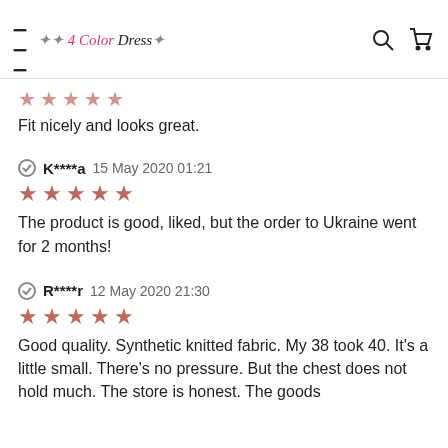4 Color Dress
Fit nicely and looks great.
K****a  15 May 2020 01:21
★★★★★
The product is good, liked, but the order to Ukraine went for 2 months!
R****r  12 May 2020 21:30
★★★★★
Good quality. Synthetic knitted fabric. My 38 took 40. It's a little small. There's no pressure. But the chest does not hold much. The store is honest. The goods